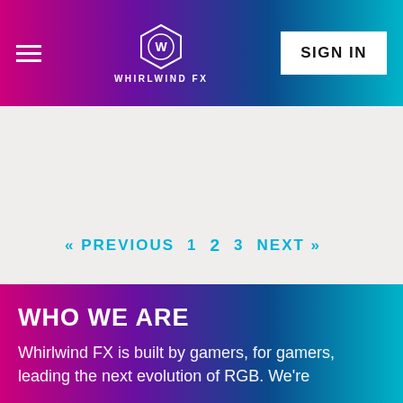[Figure (logo): Whirlwind FX logo with navigation header bar showing hamburger menu on left, centered logo with shield emblem and WHIRLWIND FX text, and SIGN IN button on right, on a purple-to-cyan gradient background]
« PREVIOUS  1  2  3  NEXT »
WHO WE ARE
Whirlwind FX is built by gamers, for gamers, leading the next evolution of RGB. We're